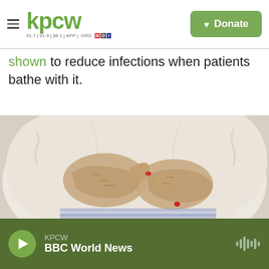kpcw — 91.7 | 91.9 | 88.1 | APP | .ORG | Donate
shown to reduce infections when patients bathe with it.
[Figure (photo): Close-up photograph of an elderly person's hands resting on their lap over a white knit sweater. The person has red nail polish on one finger. They appear to be in a wheelchair or seated chair.]
KPCW — BBC World News (audio player bar)